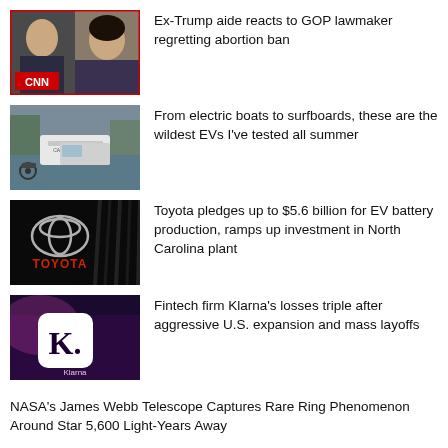[Figure (photo): CNN thumbnail showing a man and woman, CNN logo visible]
Ex-Trump aide reacts to GOP lawmaker regretting abortion ban
[Figure (photo): Electric boats and vehicles near water, Candela boat visible]
From electric boats to surfboards, these are the wildest EVs I've tested all summer
[Figure (photo): Toyota logo on dark background with TOYOTA text in red]
Toyota pledges up to $5.6 billion for EV battery production, ramps up investment in North Carolina plant
[Figure (photo): Klarna logo app icon on dark purple background]
Fintech firm Klarna's losses triple after aggressive U.S. expansion and mass layoffs
NASA's James Webb Telescope Captures Rare Ring Phenomenon Around Star 5,600 Light-Years Away